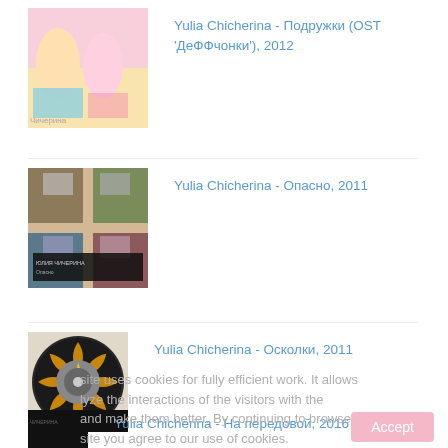[Figure (photo): Album cover for Yulia Chicherina - Подружки (OST 'ДеФФчонки'), 2012. Two young women in colorful outfits on a pink background.]
Yulia Chicherina - Подружки (OST 'ДеФФчонки'), 2012
[Figure (photo): Album cover for Yulia Chicherina - Опасно, 2011. Checkered pattern with photos.]
Yulia Chicherina - Опасно, 2011
[Figure (photo): CD disc for Yulia Chicherina - Осколки, 2011. Black disc with decorative pattern and warning triangle.]
Yulia Chicherina - Осколки, 2011
site uses cookies for fully efficient work. It allows lyze the interactions of the visitors with the and make them better. By continuing to browse site you agree to our use of cookies.
[Figure (photo): Album cover for Yulia Chicherina - На передовой, 2016. Dark image with partial text visible.]
Yulia Chicherina - На передовой, 2016